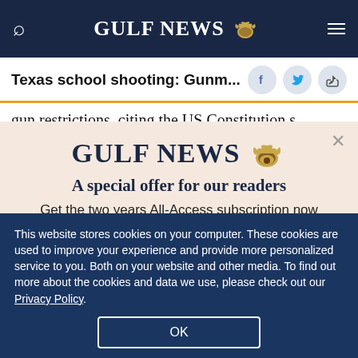GULF NEWS
Texas school shooting: Gunm...
gun restrictions, citing the US Constitution s
[Figure (screenshot): Gulf News modal subscription offer: GULF NEWS logo with eagle, 'A special offer for our readers', 'Get the two years All-Access subscription now']
This website stores cookies on your computer. These cookies are used to improve your experience and provide more personalized service to you. Both on your website and other media. To find out more about the cookies and data we use, please check out our Privacy Policy.
OK